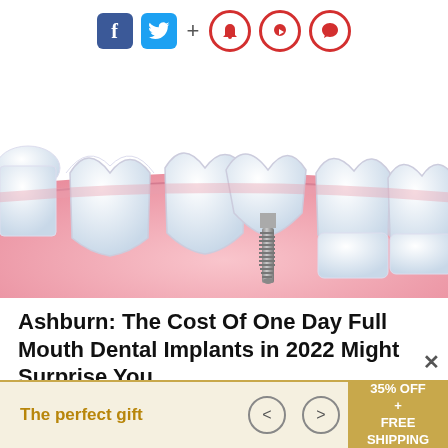[Figure (illustration): Social media sharing icons: Facebook (blue square), Twitter (blue square), plus sign, and three red-outlined circle icons (bookmark, notification bell, comment)]
[Figure (illustration): Medical illustration of a row of teeth in pink gum tissue, with one tooth replaced by a metal dental implant screw in the center, showing the implant post extending downward into the gum.]
Ashburn: The Cost Of One Day Full Mouth Dental Implants in 2022 Might Surprise You
Dental Implants | Search Ads
The perfect gift
35% OFF + FREE SHIPPING